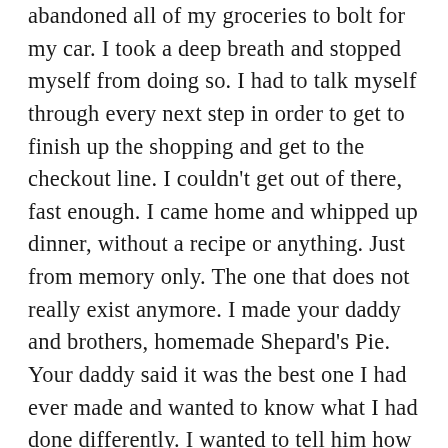abandoned all of my groceries to bolt for my car. I took a deep breath and stopped myself from doing so. I had to talk myself through every next step in order to get to finish up the shopping and get to the checkout line. I couldn't get out of there, fast enough. I came home and whipped up dinner, without a recipe or anything. Just from memory only. The one that does not really exist anymore. I made your daddy and brothers, homemade Shepard's Pie. Your daddy said it was the best one I had ever made and wanted to know what I had done differently. I wanted to tell him how the only thing I did differently was cry the entire time I was making it because I couldn't stop thinking about how you wouldn't be there, to eat it with us. Sitting down, at our dinner table with your seat, empty is also something that just kills me. So, I may have made dinner, but I couldn't get out of the house fast enough for the plans I had made a few days in advance.